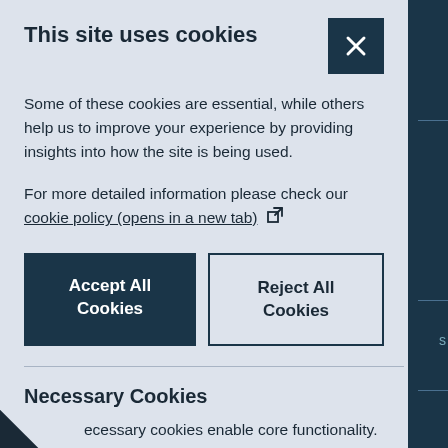This site uses cookies
Some of these cookies are essential, while others help us to improve your experience by providing insights into how the site is being used.
For more detailed information please check our cookie policy (opens in a new tab)
Accept All Cookies
Reject All Cookies
Necessary Cookies
ecessary cookies enable core functionality. The e cannot function properly without these